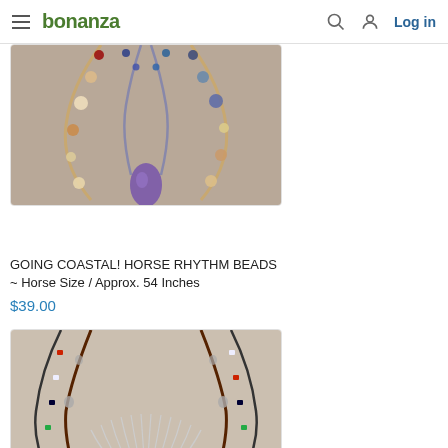bonanza | Log in
[Figure (photo): Photo of a beaded horse rhythm necklace with a purple stone pendant, featuring colorful beads in blue, red, yellow, and cream tones on a light gray background.]
GOING COASTAL! HORSE RHYTHM BEADS ~ Horse Size / Approx. 54 Inches
$39.00
[Figure (photo): Photo of a layered beaded necklace set with small colorful beads in red, black, turquoise, and white, featuring a silver cross pendant and fringe element, on a light gray background.]